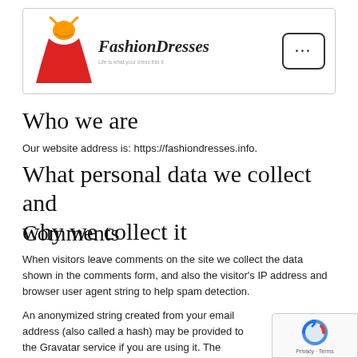[Figure (logo): FashionDresses logo with orange and red dress illustration and brand name in italic script, subtitle text below]
Who we are
Our website address is: https://fashiondresses.info.
What personal data we collect and why we collect it
Comments
When visitors leave comments on the site we collect the data shown in the comments form, and also the visitor's IP address and browser user agent string to help spam detection.
An anonymized string created from your email address (also called a hash) may be provided to the Gravatar service if you are using it. The Gravatar service privacy policy is available here: https://automattic.com/privacy/. After approval